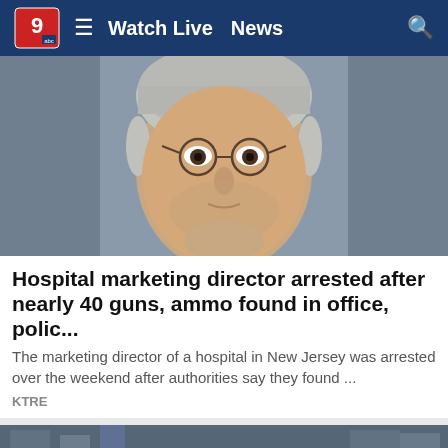Watch Live  News
[Figure (photo): Mugshot of a middle-aged man with short salt-and-pepper hair, wearing glasses, against a gray background]
Hospital marketing director arrested after nearly 40 guns, ammo found in office, polic...
The marketing director of a hospital in New Jersey was arrested over the weekend after authorities say they found ...
KTRE
[Figure (photo): Group of people standing outdoors on a city street, urban background with buildings]